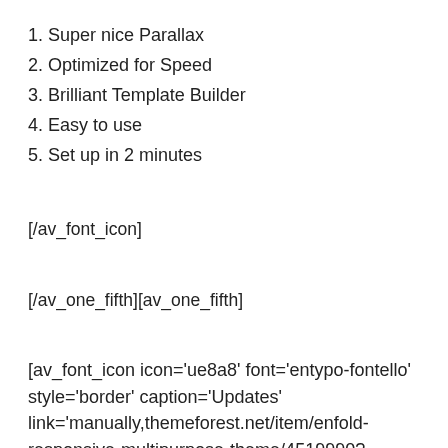1. Super nice Parallax
2. Optimized for Speed
3. Brilliant Template Builder
4. Easy to use
5. Set up in 2 minutes
[/av_font_icon]
[/av_one_fifth][av_one_fifth]
[av_font_icon icon='ue8a8' font='entypo-fontello' style='border' caption='Updates' link='manually,themeforest.net/item/enfold-responsive-multipurpose-theme/4519990?ref=kriesi' linktarget='' color='#ffffff' size='40px' position='center']
Enfold is an award winning theme that is quickly becoming one of themeforest top sellers. And for a